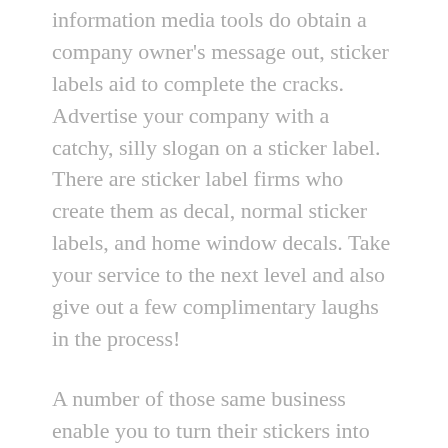information media tools do obtain a company owner's message out, sticker labels aid to complete the cracks. Advertise your company with a catchy, silly slogan on a sticker label. There are sticker label firms who create them as decal, normal sticker labels, and home window decals. Take your service to the next level and also give out a few complimentary laughs in the process!
A number of those same business enable you to turn their stickers into various other things. Not only can you have your preferred amusing slogan on a sticker, you can have it on a tee shirt, on a magnet, or perhaps a keychain.
D...